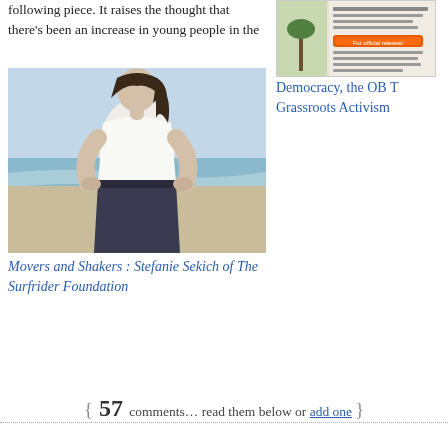following piece. It raises the thought that there's been an increase in young people in the
[Figure (photo): Woman in white tank top and dark jeans standing on a beach with hands on hips, ocean and sky in background]
Movers and Shakers : Stefanie Sekich of The Surfrider Foundation
[Figure (photo): Sidebar image with text about Democracy, the OB and Grassroots Activism event]
Democracy, the OB T
Grassroots Activism
{ 57 comments… read them below or add one }